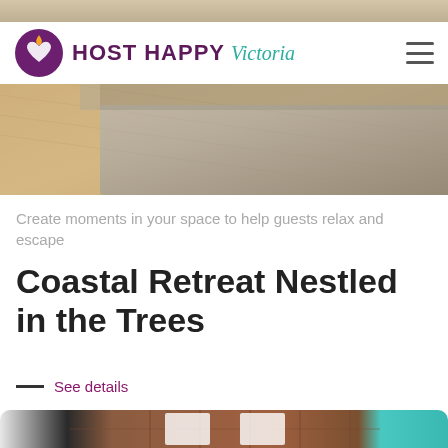[Figure (photo): Top portion of a bedroom/living room photo, partially obscured by navigation bar]
[Figure (logo): Host Happy Victoria logo: purple circle with heart and flame icon, brand name HOST HAPPY in bold purple uppercase, Victoria in teal italic script]
[Figure (photo): Interior room photo showing hardwood floors, a sofa/rug, natural light — a cozy living or bedroom space]
Create moments in your space to help guests relax and escape
Coastal Retreat Nestled in the Trees
— See details
[Figure (photo): Bottom photo showing an interior with exposed brick wall, framed artwork, and teal accent wall]